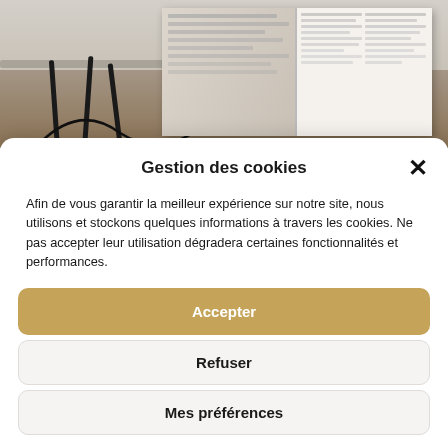[Figure (photo): A photograph showing a table with thin metal hairpin legs on a wooden floor, with an open book/magazine placed on or near it. The background shows a light-colored wall. The photo is partially obscured by a cookie consent modal overlay.]
Gestion des cookies
Afin de vous garantir la meilleur expérience sur notre site, nous utilisons et stockons quelques informations à travers les cookies. Ne pas accepter leur utilisation dégradera certaines fonctionnalités et performances.
Accepter
Refuser
Mes préférences
Politique de cookies    Politique de cookies